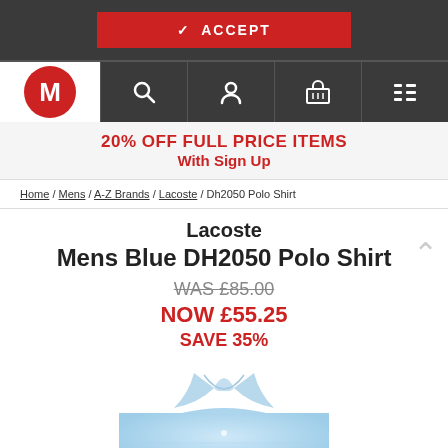[Figure (screenshot): Accept button on dark background bar at top of page]
[Figure (screenshot): Navigation bar with M logo, search, account, basket, and menu icons]
20% OFF FULL PRICE ITEMS With Sign Up
Home / Mens / A-Z Brands / Lacoste / Dh2050 Polo Shirt
Lacoste Mens Blue DH2050 Polo Shirt
WAS £85.00
NOW £55.25
SAVE 35%
[Figure (photo): Light blue Lacoste polo shirt product photo, cropped at collar area]